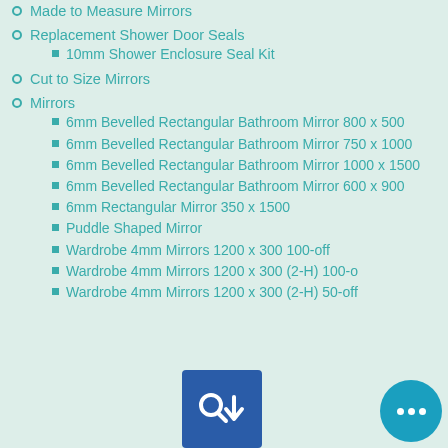Made to Measure Mirrors
Replacement Shower Door Seals
10mm Shower Enclosure Seal Kit
Cut to Size Mirrors
Mirrors
6mm Bevelled Rectangular Bathroom Mirror 800 x 500
6mm Bevelled Rectangular Bathroom Mirror 750 x 1000
6mm Bevelled Rectangular Bathroom Mirror 1000 x 1500
6mm Bevelled Rectangular Bathroom Mirror 600 x 900
6mm Rectangular Mirror 350 x 1500
Puddle Shaped Mirror
Wardrobe 4mm Mirrors 1200 x 300 100-off
Wardrobe 4mm Mirrors 1200 x 300 (2-H) 100-off
Wardrobe 4mm Mirrors 1200 x 300 (2-H) 50-off